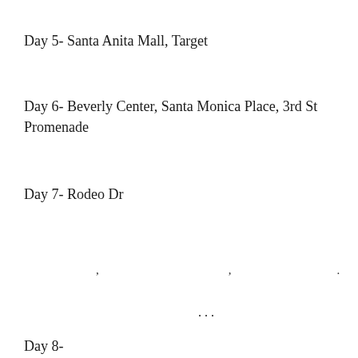Day 5- Santa Anita Mall, Target
Day 6- Beverly Center, Santa Monica Place, 3rd St Promenade
Day 7- Rodeo Dr
, ,  .
...
Day 8-